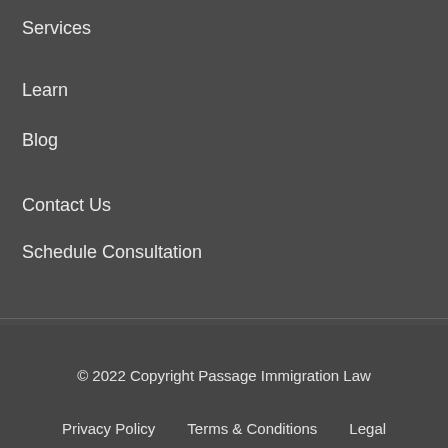Services
Learn
Blog
Contact Us
Schedule Consultation
© 2022 Copyright Passage Immigration Law
Privacy Policy   Terms & Conditions   Legal Disclaimer